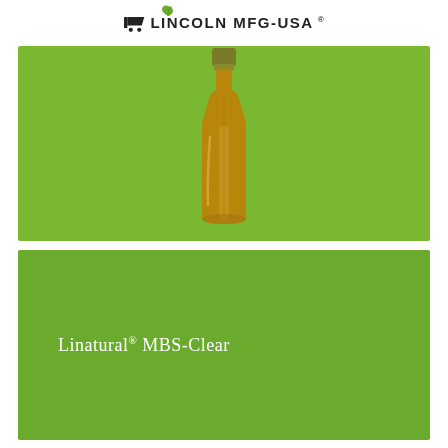LINCOLN MFG-USA
[Figure (photo): Amber glass bottle with green cap on a bright green background]
Linatural® MBS-Clear